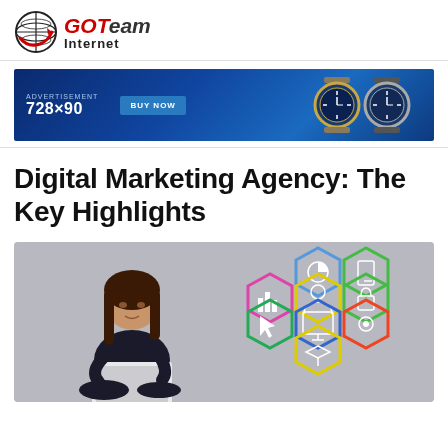[Figure (logo): GOTeam Internet logo with globe icon on the left and GOTeam Internet text on the right]
[Figure (infographic): Advertisement banner 728x90 with blue background showing luxury watches and a BUY NOW button]
Digital Marketing Agency: The Key Highlights
[Figure (photo): Woman sitting cross-legged working on a laptop, next to colorful hexagonal icons representing digital marketing services including analytics, user, bar chart, computer, mobile, settings, and security]